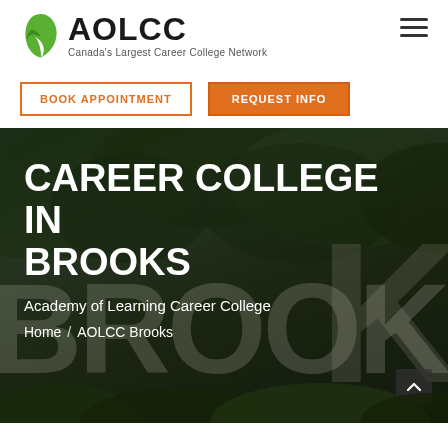[Figure (logo): AOLCC logo with green leaf icon and text 'Canada's Largest Career College Network']
BOOK APPOINTMENT
REQUEST INFO
[Figure (photo): Dark hero image with trees/foliage background with large faded BROOK watermark text]
CAREER COLLEGE IN BROOKS
Academy of Learning Career College
Home / AOLCC Brooks